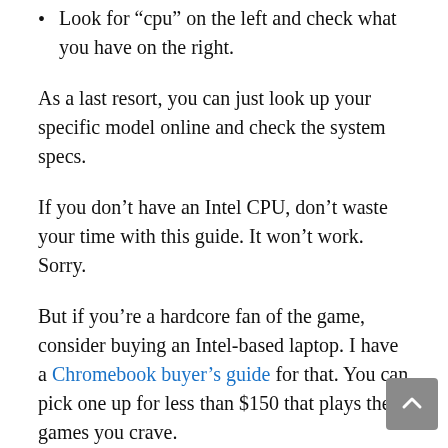Look for “cpu” on the left and check what you have on the right.
As a last resort, you can just look up your specific model online and check the system specs.
If you don’t have an Intel CPU, don’t waste your time with this guide. It won’t work. Sorry.
But if you’re a hardcore fan of the game, consider buying an Intel-based laptop. I have a Chromebook buyer’s guide for that. You can pick one up for less than $150 that plays the games you crave.
If you do have an Intel processor, then go ahead proceed to the following steps.